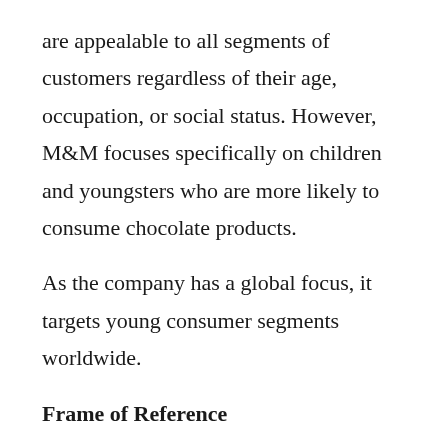are appealable to all segments of customers regardless of their age, occupation, or social status. However, M&M focuses specifically on children and youngsters who are more likely to consume chocolate products.
As the company has a global focus, it targets young consumer segments worldwide.
Frame of Reference
The M&M’s operates in the chocolate candy market, trying to meet the needs of chocolate-loving people. It is clear that M&M’s is a well-recognized global brand offering unique taste, and therefore people who like the taste of M&M’s chocolate would not be interested